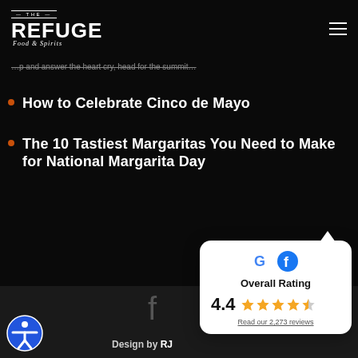[Figure (logo): The Refuge Food & Spirits logo — white text on black background]
…p and answer the heart cry, head for the summit…
How to Celebrate Cinco de Mayo
The 10 Tastiest Margaritas You Need to Make for National Margarita Day
Design by RJ
[Figure (infographic): Overall Rating card showing Google and Facebook logos, 4.4 stars out of 5 with 2,273 reviews]